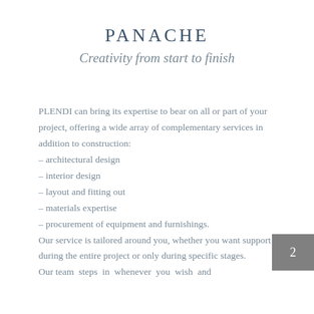PANACHE
Creativity from start to finish
PLENDI can bring its expertise to bear on all or part of your project, offering a wide array of complementary services in addition to construction:
– architectural design
– interior design
– layout and fitting out
– materials expertise
– procurement of equipment and furnishings.
Our service is tailored around you, whether you want support during the entire project or only during specific stages.
Our team steps in whenever you wish and
2